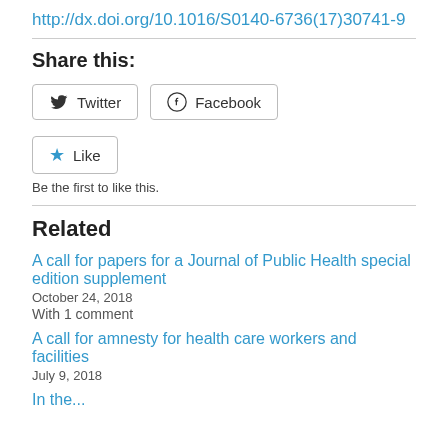http://dx.doi.org/10.1016/S0140-6736(17)30741-9
Share this:
[Figure (other): Social share buttons: Twitter and Facebook]
[Figure (other): Like button with star icon]
Be the first to like this.
Related
A call for papers for a Journal of Public Health special edition supplement
October 24, 2018
With 1 comment
A call for amnesty for health care workers and facilities
July 9, 2018
In the...